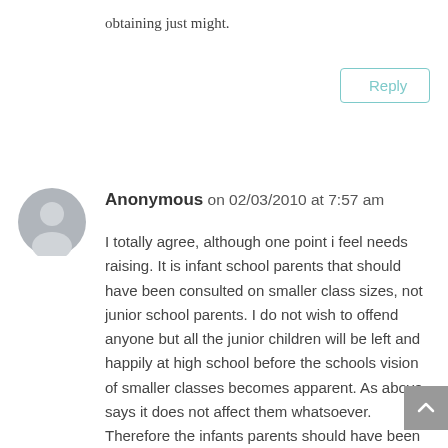obtaining just might.
Reply
Anonymous on 02/03/2010 at 7:57 am
I totally agree, although one point i feel needs raising. It is infant school parents that should have been consulted on smaller class sizes, not junior school parents. I do not wish to offend anyone but all the junior children will be left and happily at high school before the schools vision of smaller classes becomes apparent. As above says it does not affect them whatsoever. Therefore the infants parents should have been the ones that were given the ultimatum, smaller class sizes and exclude 15 of your children each year, or keep the classes the same as they have